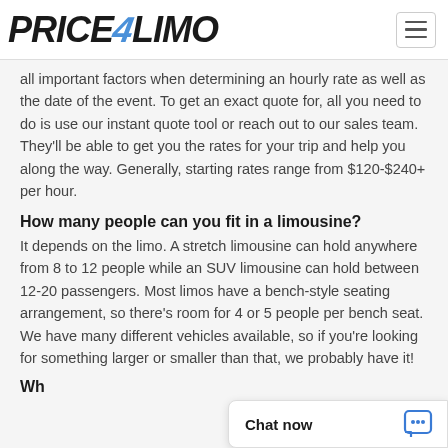PRICE4LIMO
all important factors when determining an hourly rate as well as the date of the event. To get an exact quote for, all you need to do is use our instant quote tool or reach out to our sales team. They'll be able to get you the rates for your trip and help you along the way. Generally, starting rates range from $120-$240+ per hour.
How many people can you fit in a limousine?
It depends on the limo. A stretch limousine can hold anywhere from 8 to 12 people while an SUV limousine can hold between 12-20 passengers. Most limos have a bench-style seating arrangement, so there's room for 4 or 5 people per bench seat. We have many different vehicles available, so if you're looking for something larger or smaller than that, we probably have it!
Wh...